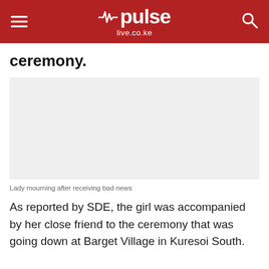pulse live.co.ke
ceremony.
[Figure (photo): Empty white space placeholder for a photo (image not visible)]
Lady mourning after receiving bad news
As reported by SDE, the girl was accompanied by her close friend to the ceremony that was going down at Barget Village in Kuresoi South.